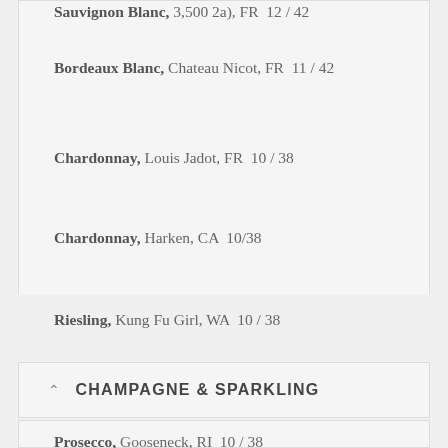Bordeaux Blanc, Chateau Nicot, FR  11 / 42
Chardonnay, Louis Jadot, FR  10 / 38
Chardonnay, Harken, CA  10/38
Riesling, Kung Fu Girl, WA  10 / 38
CHAMPAGNE & SPARKLING
Prosecco, Gooseneck, RI  10 / 38
Prosecco, La Marca (750 ml), IT  10
Rose, Pebble, CA  11/43